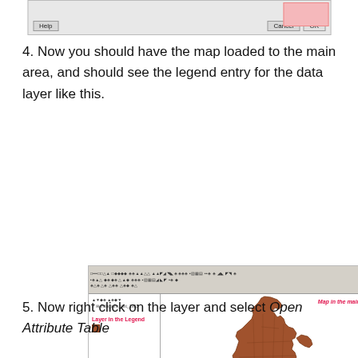[Figure (screenshot): Top portion of a dialog box with a pink preview box, Help button, Cancel button, and OK button]
4. Now you should have the map loaded to the main area, and should see the legend entry for the data layer like this.
[Figure (screenshot): QGIS application window showing a map of India (brown fill with state boundaries) in the main area, with a legend panel on the left showing 'Layer in the Legend' label in red, and 'Map in the main Area' label in red on the map. Toolbar icons visible at top.]
5. Now right click on the layer and select Open Attribute Table
[Figure (screenshot): Bottom Layers panel bar with icons]